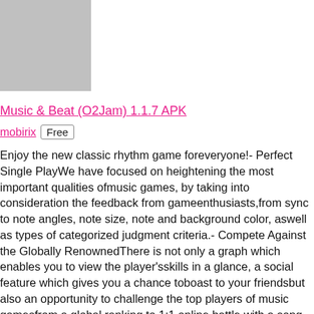[Figure (other): Gray placeholder image box in upper left]
Music & Beat (O2Jam) 1.1.7 APK
mobirix  Free
Enjoy the new classic rhythm game foreveryone!- Perfect Single PlayWe have focused on heightening the most important qualities ofmusic games, by taking into consideration the feedback from gameenthusiasts,from sync to note angles, note size, note and background color, aswell as types of categorized judgment criteria.- Compete Against the Globally RenownedThere is not only a graph which enables you to view the player'sskills in a glance, a social feature which gives you a chance toboast to your friendsbut also an opportunity to challenge the top players of music gamesfrom a global ranking to 1:1 online battle with a song chosen inrandom.- New Skin System Full of IndividualityA strong customizing system is supported where separate skinpatches can be fused or a completed set is available.Enjoy 'Music&Beat (O2Jam)' on your own personalized playscreen.Don't miss out the fun changing appearances of each skin type asyou level up 'Fever' stages.- Best Song Selection System Taking Consideration of the Users'ConvenienceWhich song should we play? You don't have to worry, from fun basicsongs full of individuality with3 key, 4 key, and 5